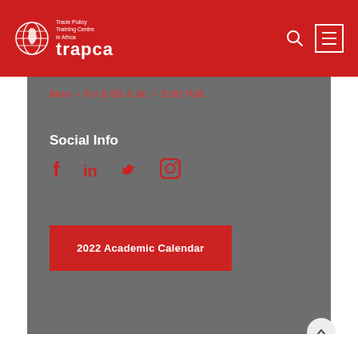Trade Policy Training Centre in Africa — trapca
Mon – Fri 8:00 A.M. – 5:00 P.M.
Social Info
[Figure (infographic): Social media icons: Facebook, LinkedIn, Twitter, Instagram]
2022 Academic Calendar